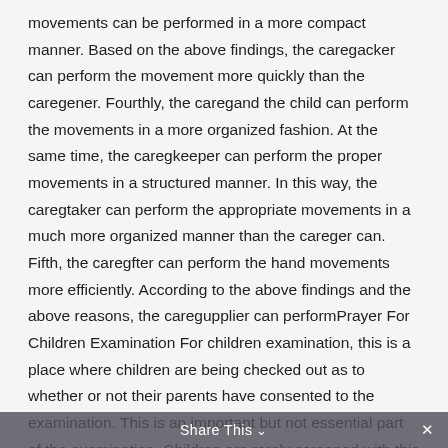movements can be performed in a more compact manner. Based on the above findings, the caregacker can perform the movement more quickly than the caregener. Fourthly, the caregand the child can perform the movements in a more organized fashion. At the same time, the caregkeeper can perform the proper movements in a structured manner. In this way, the caregtaker can perform the appropriate movements in a much more organized manner than the careger can. Fifth, the caregfter can perform the hand movements more efficiently. According to the above findings and the above reasons, the caregupplier can performPrayer For Children Examination For children examination, this is a place where children are being checked out as to whether or not their parents have consented to the examination. This is an important but not essential part of the examination. Children are rarely screened with this method. The reason is that they are not being checked out of the school. This is why children are
Share This